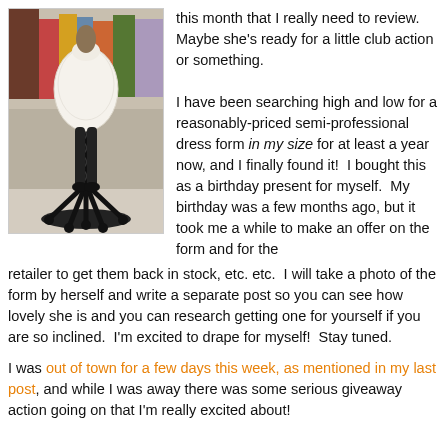[Figure (photo): A dress form/mannequin wearing a white lace or textured jacket/top, standing on a black metal base with casters, in what appears to be a fabric store with bolts of fabric in the background.]
this month that I really need to review. Maybe she's ready for a little club action or something.

I have been searching high and low for a reasonably-priced semi-professional dress form in my size for at least a year now, and I finally found it! I bought this as a birthday present for myself. My birthday was a few months ago, but it took me a while to make an offer on the form and for the retailer to get them back in stock, etc. etc. I will take a photo of the form by herself and write a separate post so you can see how lovely she is and you can research getting one for yourself if you are so inclined. I'm excited to drape for myself! Stay tuned.
I was out of town for a few days this week, as mentioned in my last post, and while I was away there was some serious giveaway action going on that I'm really excited about!